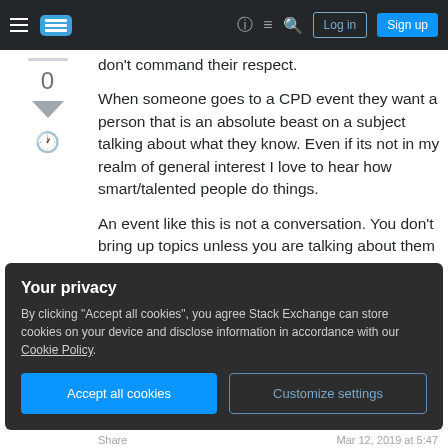Stack Exchange navigation bar with menu, logo, help, chat, search, Log in, Sign up buttons
don't command their respect.
When someone goes to a CPD event they want a person that is an absolute beast on a subject talking about what they know. Even if its not in my realm of general interest I love to hear how smart/talented people do things.
An event like this is not a conversation. You don't bring up topics unless you are talking about them or introducing someone to talk about them. Now that you have run these and they have failed you have
Your privacy
By clicking "Accept all cookies", you agree Stack Exchange can store cookies on your device and disclose information in accordance with our Cookie Policy.
Accept all cookies
Customize settings
Share